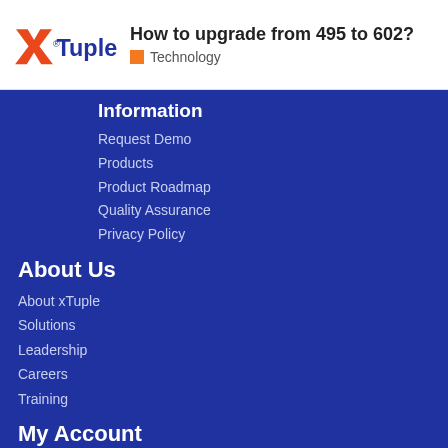How to upgrade from 495 to 602? Technology
Information
Request Demo
Products
Product Roadmap
Quality Assurance
Privacy Policy
About Us
About xTuple
Solutions
Leadership
Careers
Training
My Account
Forums
Customer Support
MarketPlace
Downloads
Contact Us